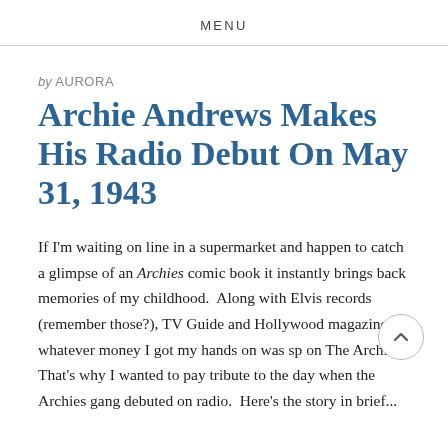MENU
by AURORA
Archie Andrews Makes His Radio Debut On May 31, 1943
If I'm waiting on line in a supermarket and happen to catch a glimpse of an Archies comic book it instantly brings back memories of my childhood.  Along with Elvis records (remember those?), TV Guide and Hollywood magazines whatever money I got my hands on was sp on The Archies.  That's why I wanted to pay tribute to the day when the Archies gang debuted on radio.  Here's the story in brief...